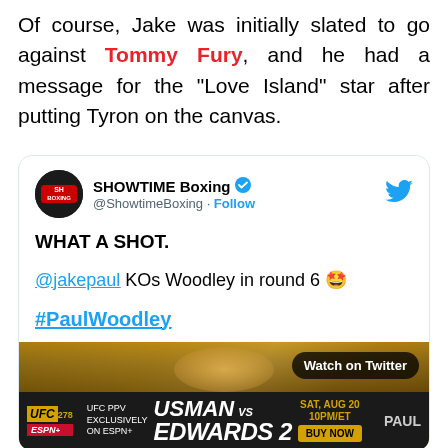Of course, Jake was initially slated to go against Tommy Fury, and he had a message for the "Love Island" star after putting Tyron on the canvas.
[Figure (screenshot): Embedded tweet from @ShowtimeBoxing account. Tweet reads: 'WHAT A SHOT. @jakepaul KOs Woodley in round 6 [emoji] #PaulWoodley'. Includes a partial boxing image with UFC 278 ESPN+ advertisement banner showing 'USMAN vs EDWARDS 2, SAT AUG 20 10PM/ET, BUY NOW'. Twitter/Watch on Twitter overlay shown.]